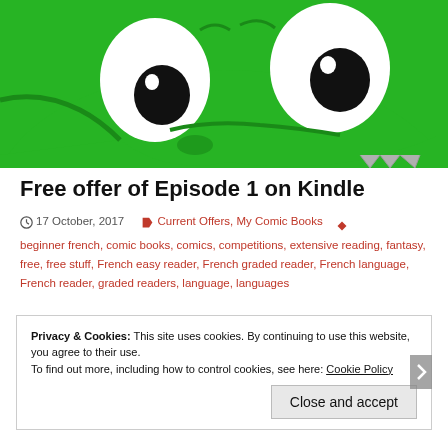[Figure (illustration): Close-up cartoon illustration of a green dragon face with large white cartoon eyes with black pupils, and visible teeth/fangs on a bright green background]
Free offer of Episode 1 on Kindle
17 October, 2017   Current Offers, My Comic Books   beginner french, comic books, comics, competitions, extensive reading, fantasy, free, free stuff, French easy reader, French graded reader, French language, French reader, graded readers, language, languages
Privacy & Cookies: This site uses cookies. By continuing to use this website, you agree to their use.
To find out more, including how to control cookies, see here: Cookie Policy